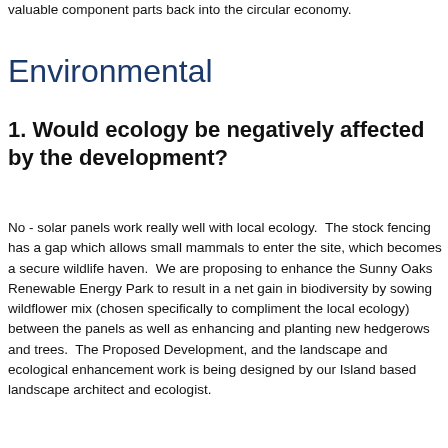valuable component parts back into the circular economy.
Environmental
1. Would ecology be negatively affected by the development?
No - solar panels work really well with local ecology.  The stock fencing has a gap which allows small mammals to enter the site, which becomes a secure wildlife haven.  We are proposing to enhance the Sunny Oaks Renewable Energy Park to result in a net gain in biodiversity by sowing wildflower mix (chosen specifically to compliment the local ecology) between the panels as well as enhancing and planting new hedgerows and trees.  The Proposed Development, and the landscape and ecological enhancement work is being designed by our Island based landscape architect and ecologist.